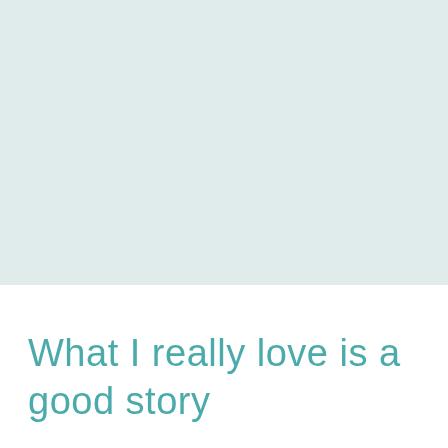[Figure (illustration): Light mint/teal colored rectangular background panel taking up the top portion of the page]
What I really love is a good story